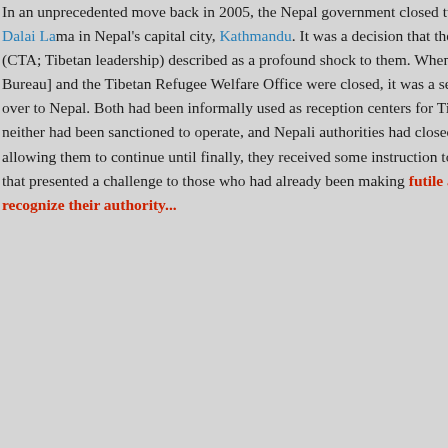In an unprecedented move back in 2005, the [Nepal government closed] two key offices associated with the Dalai Lama in Nepal's capital city, Kathmandu. It was a decision that the Central Tibetan Administration (CTA; Tibetan leadership) described as a profound shock to them. When both the Office of the [Tibet Bureau] and the Tibetan Refugee Welfare Office were closed, it was a setback for Tibetans trying to cross over to Nepal. Both had been informally used as reception centers for Tibetans fleeing from Tibet, but neither had been sanctioned to operate, and Nepali authorities had closed one eye to their activities, allowing them to continue until finally, they received some instruction to cease operations. It was a decision that presented a challenge to those who had already been making futile attempts to get legitimacy in a country that does not recognize their authority...
Although the reason cited was that both offices had not registered their activities under Nepali law, it was obvious to everyone that Nepal's real reason for their closure was a desire for a closer relationship with China. To many people in Nepal, the decision...
[Figure (photo): Partial photo of a person visible at bottom right, warm yellow-brown tones]